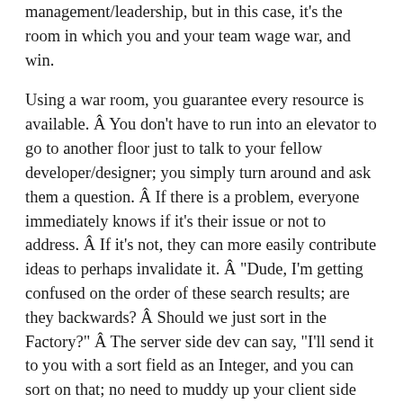management/leadership, but in this case, it's the room in which you and your team wage war, and win.
Using a war room, you guarantee every resource is available.  You don't have to run into an elevator to go to another floor just to talk to your fellow developer/designer; you simply turn around and ask them a question.  If there is a problem, everyone immediately knows if it's their issue or not to address.  If it's not, they can more easily contribute ideas to perhaps invalidate it.  "Dude, I'm getting confused on the order of these search results; are they backwards?  Should we just sort in the Factory?"  The server side dev can say, "I'll send it to you with a sort field as an Integer, and you can sort on that; no need to muddy up your client side code when it's our responsibility to give you the data you need anyway".  No meeting, no Outlook schedules, just raw productivity and agile communication at work.
Developer hit a wall with a skin implementation?  The